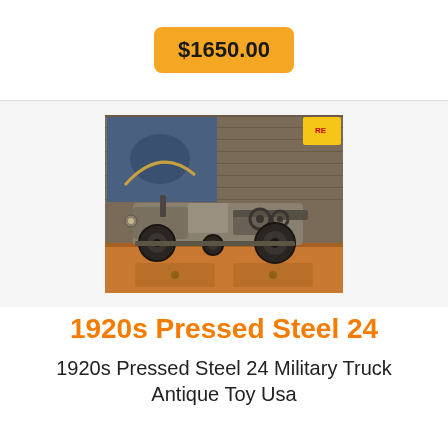$1650.00
[Figure (photo): Antique 1920s pressed steel military truck toy sitting on a wooden surface, photographed against a wood-paneled wall with artwork in the background.]
1920s Pressed Steel 24
1920s Pressed Steel 24 Military Truck Antique Toy Usa